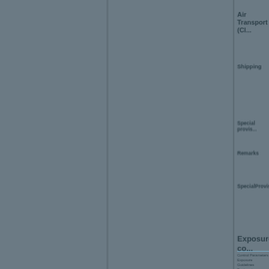Air Transport (Cl...
Shipping
Special provis...
Remarks
SpecialProvisio...
Exposure co...
Control Parameters
Exposure Guidelines
Engineering Controls
general exhaust...
See also the... Th...
Individual prote...
Protective clothing...
avoidance of the...
to situations T...